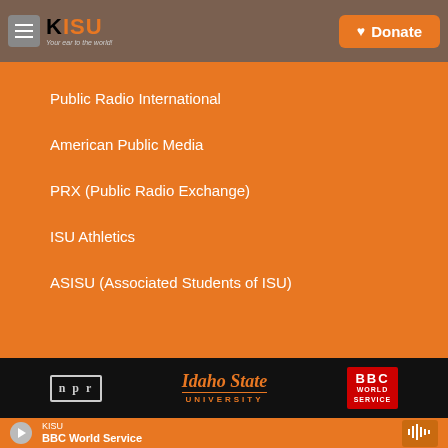KISU — Your ear to the world! | Donate
Public Radio International
American Public Media
PRX (Public Radio Exchange)
ISU Athletics
ASISU (Associated Students of ISU)
[Figure (logo): NPR, Idaho State University, and BBC World Service logos on black background]
KISU — BBC World Service (player bar)